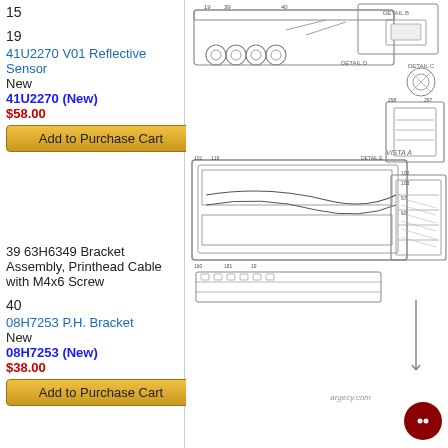15
19
41U2270 V01 Reflective Sensor
New
41U2270 (New)
$58.00
[Add to Purchase Cart]
39 63H6349 Bracket Assembly, Printhead Cable with M4x6 Screw
40
08H7253 P.H. Bracket
New
08H7253 (New)
$38.00
[Add to Purchase Cart]
55 08H7355 Screw M4x (Misc. Kit item 19)
56 08H7355 Screw M4x14 (Misc. Kit item
[Figure (engineering-diagram): Engineering parts diagram showing printhead assembly with numbered callouts for parts including brackets, sensors, and screws. Multiple views including Vista A. Watermark: argecy.com]